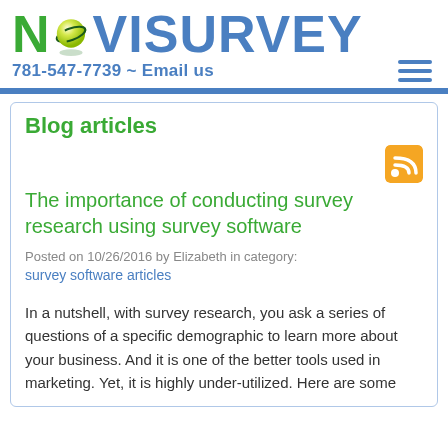NoviSurvey
781-547-7739 ~ Email us
Blog articles
The importance of conducting survey research using survey software
Posted on 10/26/2016 by Elizabeth in category:
survey software articles
In a nutshell, with survey research, you ask a series of questions of a specific demographic to learn more about your business. And it is one of the better tools used in marketing. Yet, it is highly under-utilized. Here are some